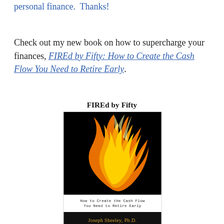personal finance.  Thanks!
Check out my new book on how to supercharge your finances, FIREd by Fifty: How to Create the Cash Flow You Need to Retire Early.
[Figure (illustration): Book cover for 'FIREd by Fifty: How to Create the Cash Flow You Need to Retire Early' by Joseph Sheeley, Ph.D. Shows flames on a black background with title above and author name below.]